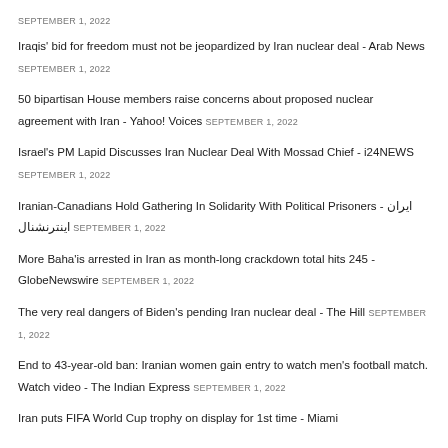SEPTEMBER 1, 2022
Iraqis' bid for freedom must not be jeopardized by Iran nuclear deal - Arab News SEPTEMBER 1, 2022
50 bipartisan House members raise concerns about proposed nuclear agreement with Iran - Yahoo! Voices SEPTEMBER 1, 2022
Israel's PM Lapid Discusses Iran Nuclear Deal With Mossad Chief - i24NEWS SEPTEMBER 1, 2022
Iranian-Canadians Hold Gathering In Solidarity With Political Prisoners - ایران اینترنشنال SEPTEMBER 1, 2022
More Baha'is arrested in Iran as month-long crackdown total hits 245 - GlobeNewswire SEPTEMBER 1, 2022
The very real dangers of Biden's pending Iran nuclear deal - The Hill SEPTEMBER 1, 2022
End to 43-year-old ban: Iranian women gain entry to watch men's football match. Watch video - The Indian Express SEPTEMBER 1, 2022
Iran puts FIFA World Cup trophy on display for 1st time - Miami